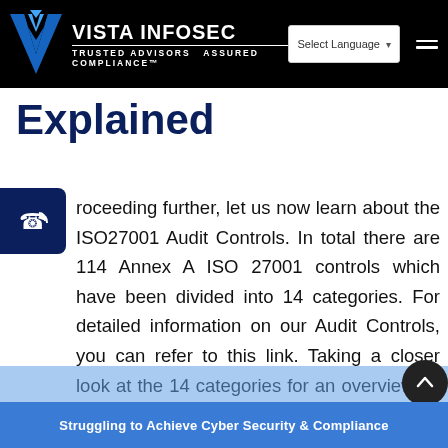VISTA INFOSEC – TRUSTED ADVISORS ASSURED COMPLIANCE™
Explained
roceeding further, let us now learn about the ISO27001 Audit Controls. In total there are 114 Annex A ISO 27001 controls which have been divided into 14 categories. For detailed information on our Audit Controls, you can refer to this link. Taking a closer look at the 14 categories for an overview let us understand what they entail and how they break down into furth... and too...
Struggling to Achieve Cyber Security & Compliance